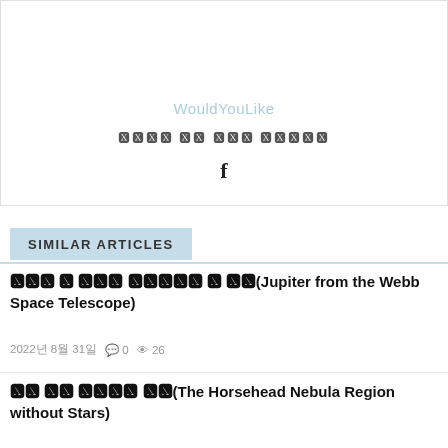[Figure (illustration): Default user avatar placeholder image — gray silhouette of a person on light gray background]
WouldYouLike
XXXX XX XXX XXXXX (redacted Korean text)
f (Facebook icon)
SIMILAR ARTICLES
웹 제임스 우주망원경 으로 본 목성(Jupiter from the Webb Space Telescope)
2022년 8월 31일  0  26
말머리 성운 지역(The Horsehead Nebula Region without Stars)